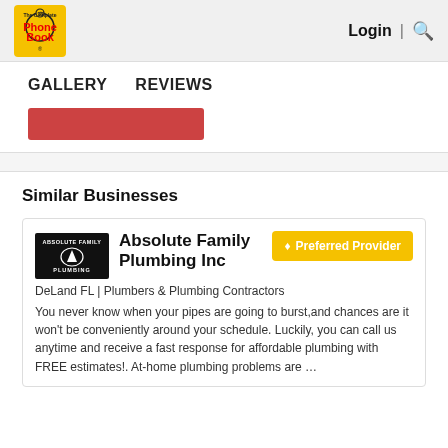The Complete Phone Book | Login | Search
GALLERY   REVIEWS
[Figure (other): Red button partially visible]
Similar Businesses
[Figure (logo): Absolute Family Plumbing logo - black background with white text and graphic]
Absolute Family Plumbing Inc
DeLand FL | Plumbers & Plumbing Contractors
You never know when your pipes are going to burst,and chances are it won't be conveniently around your schedule. Luckily, you can call us anytime and receive a fast response for affordable plumbing with FREE estimates!. At-home plumbing problems are …